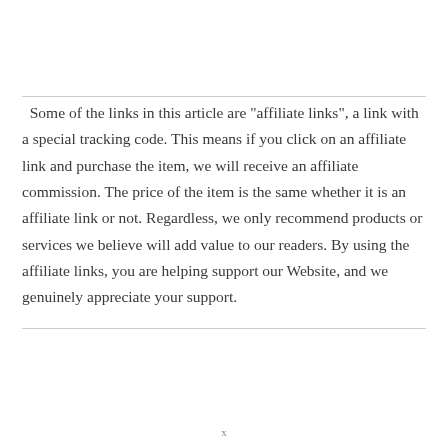Some of the links in this article are "affiliate links", a link with a special tracking code. This means if you click on an affiliate link and purchase the item, we will receive an affiliate commission. The price of the item is the same whether it is an affiliate link or not. Regardless, we only recommend products or services we believe will add value to our readers. By using the affiliate links, you are helping support our Website, and we genuinely appreciate your support.
x